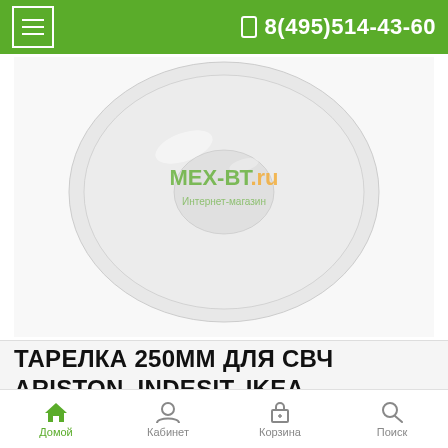МЕХ-ВТ.ru — Интернет-магазин  ☎ 8(495)514-43-60
[Figure (photo): A round glass microwave turntable plate (250mm) photographed from above on a white background, with the МЕХ-ВТ.ru watermark overlaid.]
ТАРЕЛКА 250ММ ДЛЯ СВЧ ARISTON, INDESIT, IKEA, KUEPPERSBUSCH, WHIRLPOOL 313978 (481246678412)
Домой  Кабинет  Корзина  Поиск